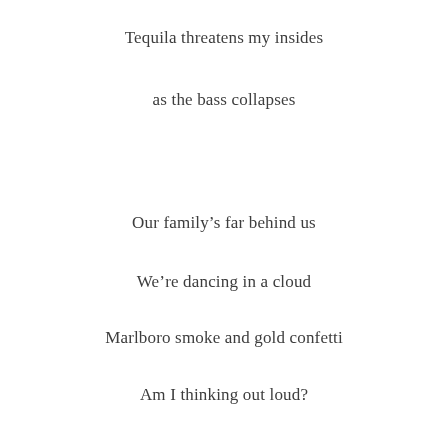Tequila threatens my insides
as the bass collapses
Our family's far behind us
We're dancing in a cloud
Marlboro smoke and gold confetti
Am I thinking out loud?